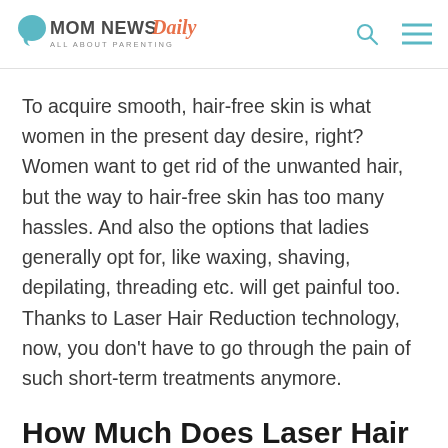MOM NEWS Daily — ALL ABOUT PARENTING
To acquire smooth, hair-free skin is what women in the present day desire, right? Women want to get rid of the unwanted hair, but the way to hair-free skin has too many hassles. And also the options that ladies generally opt for, like waxing, shaving, depilating, threading etc. will get painful too. Thanks to Laser Hair Reduction technology, now, you don't have to go through the pain of such short-term treatments anymore.
How Much Does Laser Hair Removal Cost In San-Angelo?